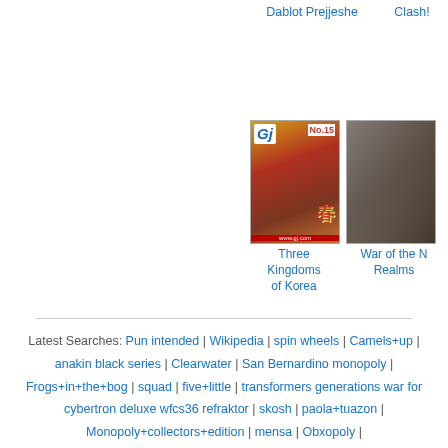Dablot Prejjeshe | Clash!
[Figure (photo): Magazine cover: GJ Prime No.15, Three Kingdoms of Korea themed cover with illustrated figures]
Three Kingdoms of Korea
[Figure (photo): War of the Nine Realms book or game box, dark toned photo]
War of the Nine Realms
Latest Searches: Pun intended | Wikipedia | spin wheels | Camels+up | anakin black series | Clearwater | San Bernardino monopoly | Frogs+in+the+bog | squad | five+little | transformers generations war for cybertron deluxe wfcs36 refraktor | skosh | paola+tuazon | Monopoly+collectors+edition | mensa | Obxopoly |